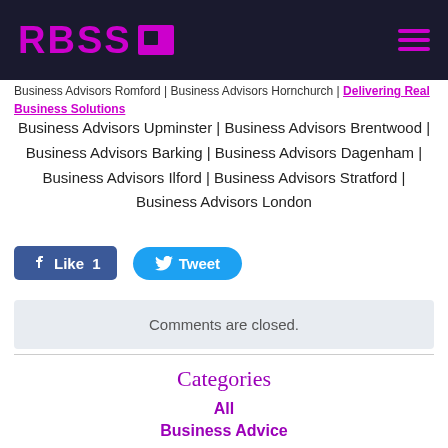RBSS [logo]
Business Advisors Romford | Business Advisors Hornchurch | Delivering Real Business Solutions
Business Advisors Upminster | Business Advisors Brentwood | Business Advisors Barking | Business Advisors Dagenham | Business Advisors Ilford | Business Advisors Stratford | Business Advisors London
[Figure (other): Facebook Like button with count 1 and Twitter Tweet button]
Comments are closed.
Categories
All
Business Advice